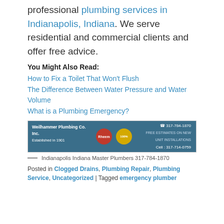professional plumbing services in Indianapolis, Indiana. We serve residential and commercial clients and offer free advice.
You Might Also Read:
How to Fix a Toilet That Won't Flush
The Difference Between Water Pressure and Water Volume
What is a Plumbing Emergency?
[Figure (other): Weilhammer Plumbing Co. Inc. banner ad. Established in 1901. Shows Rheem logo and 100% satisfaction badge. Phone: 317-784-1870, Cell: 317-714-0759]
— Indianapolis Indiana Master Plumbers 317-784-1870
Posted in Clogged Drains, Plumbing Repair, Plumbing Service, Uncategorized | Tagged emergency plumber